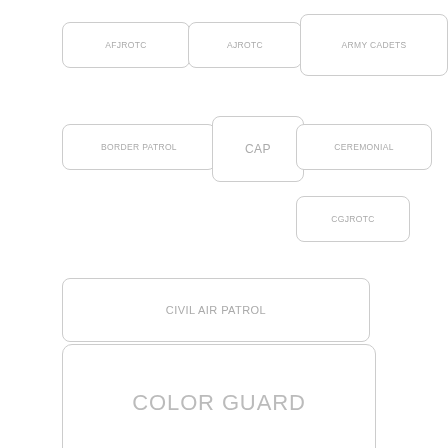AFJROTC
AJROTC
ARMY CADETS
BORDER PATROL
CAP
CEREMONIAL
CGJROTC
CIVIL AIR PATROL
COLOR GUARD
COLORGUARD
COLOR GUARD TRAINING
COLOR TEAM
COLOR TEAM TRAINING
DRILL